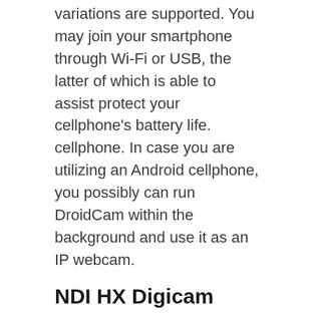variations are supported. You may join your smartphone through Wi-Fi or USB, the latter of which is able to assist protect your cellphone's battery life. cellphone. In case you are utilizing an Android cellphone, you possibly can run DroidCam within the background and use it as an IP webcam.
NDI HX Digicam
NDI requires you to obtain an app on your iPhone, in addition to an app and driver on your iPhone. laptop computer. Each your laptop and your smartphone have to be on the identical wi-fi community; the NDI HX app streams a feed out of your smartphone to the NDA app in your PC. Utilizing the NDI Digital Enter program, you possibly can inform the chat utility of your selection